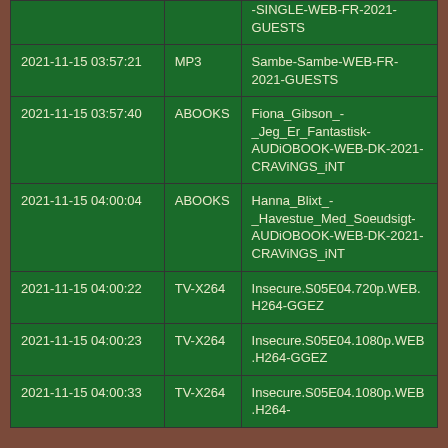|  |  | -SINGLE-WEB-FR-2021-GUESTS |
| 2021-11-15 03:57:21 | MP3 | Sambe-Sambe-WEB-FR-2021-GUESTS |
| 2021-11-15 03:57:40 | ABOOKS | Fiona_Gibson_-_Jeg_Er_Fantastisk-AUDiOBOOK-WEB-DK-2021-CRAViNGS_iNT |
| 2021-11-15 04:00:04 | ABOOKS | Hanna_Blixt_-_Havestue_Med_Soeudsigt-AUDiOBOOK-WEB-DK-2021-CRAViNGS_iNT |
| 2021-11-15 04:00:22 | TV-X264 | Insecure.S05E04.720p.WEB.H264-GGEZ |
| 2021-11-15 04:00:23 | TV-X264 | Insecure.S05E04.1080p.WEB.H264-GGEZ |
| 2021-11-15 04:00:33 | TV-X264 | Insecure.S05E04.1080p.WEB.H264- |